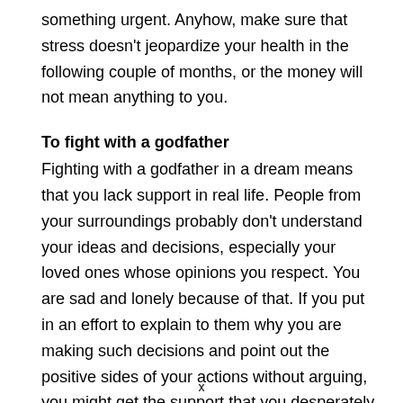something urgent. Anyhow, make sure that stress doesn't jeopardize your health in the following couple of months, or the money will not mean anything to you.
To fight with a godfather
Fighting with a godfather in a dream means that you lack support in real life. People from your surroundings probably don't understand your ideas and decisions, especially your loved ones whose opinions you respect. You are sad and lonely because of that. If you put in an effort to explain to them why you are making such decisions and point out the positive sides of your actions without arguing, you might get the support that you desperately need.
x